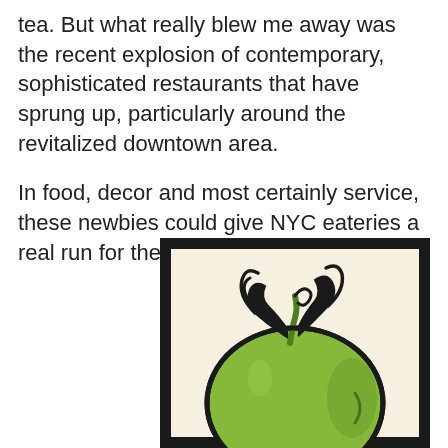tea. But what really blew me away was the recent explosion of contemporary, sophisticated restaurants that have sprung up, particularly around the revitalized downtown area.

In food, decor and most certainly service, these newbies could give NYC eateries a real run for their money.
[Figure (illustration): A stylized illustration of a green tomato with dark curling stem and leaves, set against a cream/off-white background inside a thick black border.]